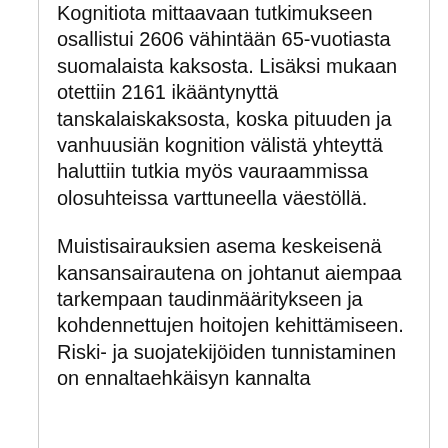Kognitiota mittaavaan tutkimukseen osallistui 2606 vähintään 65-vuotiasta suomalaista kaksosta. Lisäksi mukaan otettiin 2161 ikääntynyttä tanskalaiskaksosta, koska pituuden ja vanhuusiän kognition välistä yhteyttä haluttiin tutkia myös vauraammissa olosuhteissa varttuneella väestöllä.
Muistisairauksien asema keskeisenä kansansairautena on johtanut aiempaa tarkempaan taudinmääritykseen ja kohdennettujen hoitojen kehittämiseen. Riski- ja suojatekijöiden tunnistaminen on ennaltaehkäisyn kannalta